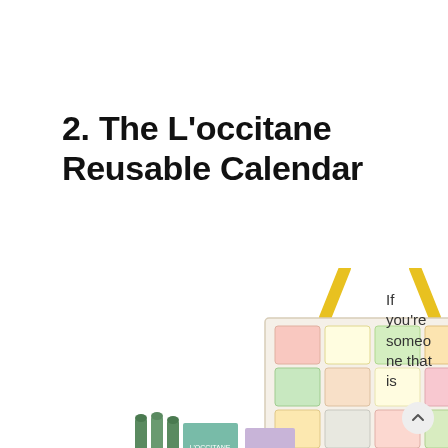2. The L'occitane Reusable Calendar
[Figure (photo): L'Occitane reusable advent calendar with floral illustrated pockets and yellow ribbon handle, displayed with various beauty product bottles arranged at the bottom]
If you're someone that is